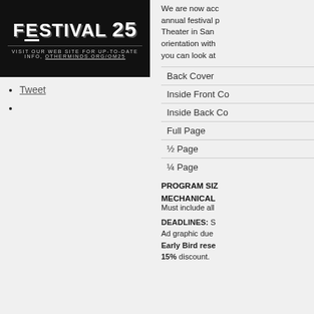[Figure (illustration): Festival 25 banner image with bold black distressed text reading FESTIVAL 25 and subtext VISIT OUR WEB SITE FOR UP-TO-DATE INFO, OTHERMINDS.ORG/OM25]
Tweet
We are now accepting reservations for advertising in our annual festival program book, presented at Zroom Theater in San Francisco. Please review the rate/size orientation with the chart at right. For more info, you can look at
Back Cover
Inside Front Co
Inside Back Co
Full Page
½ Page
¼ Page
PROGRAM SIZ
MECHANICAL
Must include all
DEADLINES: S Ad graphic due Early Bird reserve 15% discount.